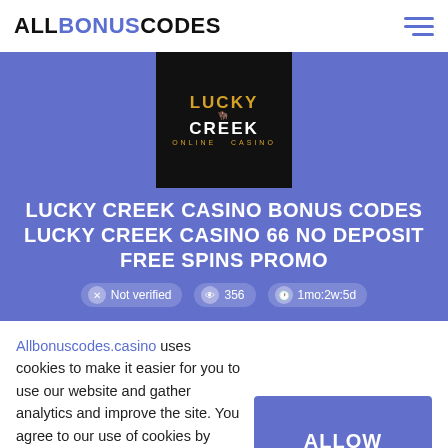ALLBONUSCODES
[Figure (logo): Lucky Creek Online Casino logo — black square background with golden bull skull and stylized text]
LUCKY CREEK CASINO BONUS CODES LUCKY CREEK CASINO 66 NO DEPOSIT FREE SPINS PROMO
Not verified  356  1mo:2w:5d
Allbonuscodes.casino uses cookies to make it easier for you to use our website and gather analytics and improve the site. You agree to our use of cookies by clicking the "Allow Cookies" button or continuing to use our website. To find out more, see our Privacy Policy.